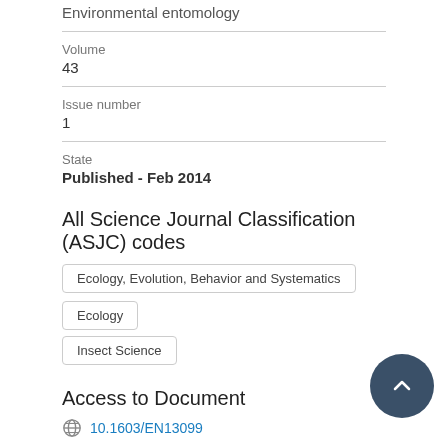Environmental entomology
Volume
43
Issue number
1
State
Published - Feb 2014
All Science Journal Classification (ASJC) codes
Ecology, Evolution, Behavior and Systematics
Ecology
Insect Science
Access to Document
10.1603/EN13099
Other files and links
Link to publication in Scopus